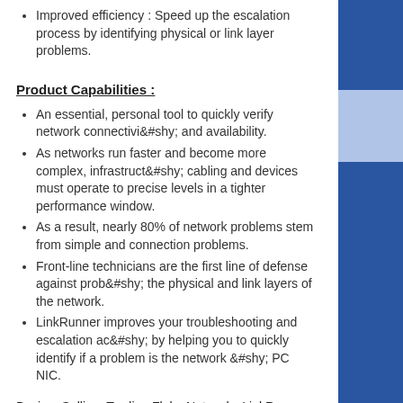Improved efficiency : Speed up the escalation process by identifying physical or link layer problems.
Product Capabilities :
An essential, personal tool to quickly verify network connectivity and availability.
As networks run faster and become more complex, infrastructure cabling and devices must operate to precise levels in a tighter performance window.
As a result, nearly 80% of network problems stem from simple and connection problems.
Front-line technicians are the first line of defense against problems at the physical and link layers of the network.
LinkRunner improves your troubleshooting and escalation accuracy by helping you to quickly identify if a problem is the network or PC NIC.
Buying, Selling, Trading Fluke Networks LinkRunner
Fluke Microtest MicroScanner 10/100 Cable Verifier
Product Capabilities